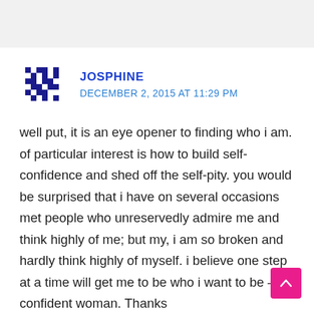[Figure (other): Pixelated avatar icon in dark blue/navy color resembling a blocky pixel-art figure]
JOSPHINE
DECEMBER 2, 2015 AT 11:29 PM
well put, it is an eye opener to finding who i am. of particular interest is how to build self-confidence and shed off the self-pity. you would be surprised that i have on several occasions met people who unreservedly admire me and think highly of me; but my, i am so broken and hardly think highly of myself. i believe one step at a time will get me to be who i want to be – a confident woman. Thanks